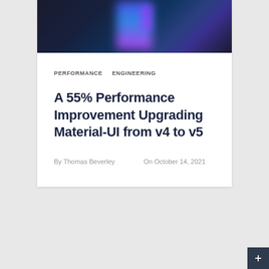[Figure (photo): Dark hero image with blurred blue and purple light shapes against a dark navy background]
PERFORMANCE   ENGINEERING
A 55% Performance Improvement Upgrading Material-UI from v4 to v5
By Thomas Beverley    On October 14, 2021